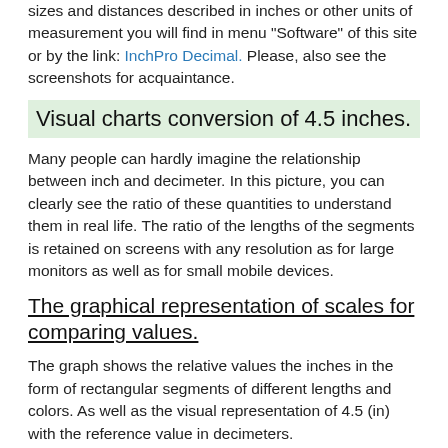sizes and distances described in inches or other units of measurement you will find in menu "Software" of this site or by the link: InchPro Decimal. Please, also see the screenshots for acquaintance.
Visual charts conversion of 4.5 inches.
Many people can hardly imagine the relationship between inch and decimeter. In this picture, you can clearly see the ratio of these quantities to understand them in real life. The ratio of the lengths of the segments is retained on screens with any resolution as for large monitors as well as for small mobile devices.
The graphical representation of scales for comparing values.
The graph shows the relative values the inches in the form of rectangular segments of different lengths and colors. As well as the visual representation of 4.5 (in) with the reference value in decimeters.
[Figure (bar-chart): ]